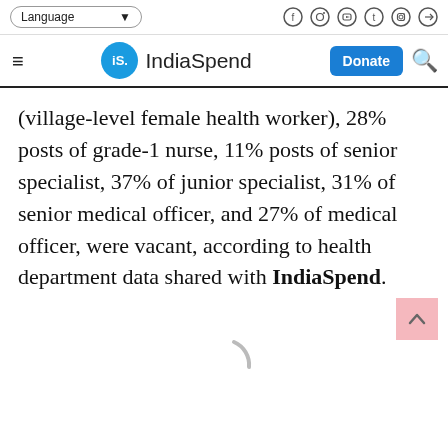Language | IndiaSpend | Donate
(village-level female health worker), 28% posts of grade-1 nurse, 11% posts of senior specialist, 37% of junior specialist, 31% of senior medical officer, and 27% of medical officer, were vacant, according to health department data shared with IndiaSpend.